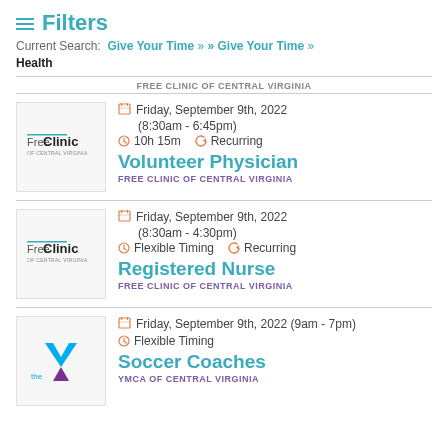Filters
Current Search: Give Your Time » » Give Your Time » Health
FREE CLINIC OF CENTRAL VIRGINIA
Friday, September 9th, 2022 (8:30am - 6:45pm) · 10h 15m · Recurring · Volunteer Physician · FREE CLINIC OF CENTRAL VIRGINIA
Friday, September 9th, 2022 (8:30am - 4:30pm) · Flexible Timing · Recurring · Registered Nurse · FREE CLINIC OF CENTRAL VIRGINIA
Friday, September 9th, 2022 (9am - 7pm) · Flexible Timing · Soccer Coaches · YMCA OF CENTRAL VIRGINIA